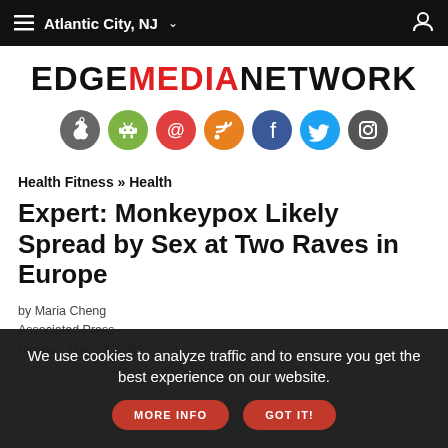Atlantic City, NJ
[Figure (logo): Edge Media Network logo with EDGE in black, MEDIA in red, NETWORK in black, all caps bold]
[Figure (infographic): Row of seven circular social media icons: Apple (grey), Android (green), Email at-sign (red), RSS (orange), Facebook (blue), Twitter (light blue), Instagram (dark grey)]
Health Fitness » Health
Expert: Monkeypox Likely Spread by Sex at Two Raves in Europe
by Maria Cheng
Associated Press
Monday, May 23, 2022
We use cookies to analyze traffic and to ensure you get the best experience on our website.